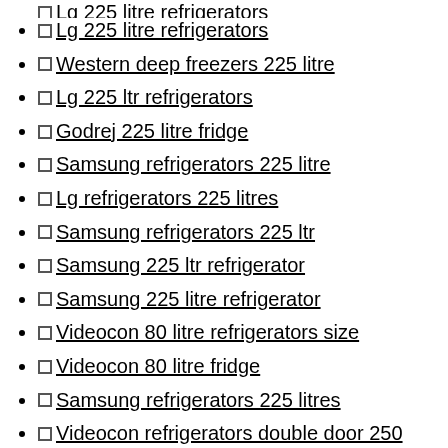Lg 225 litre refrigerators
Lg 225 litre refrigerators
Western deep freezers 225 litre
Lg 225 ltr refrigerators
Godrej 225 litre fridge
Samsung refrigerators 225 litre
Lg refrigerators 225 litres
Samsung refrigerators 225 ltr
Samsung 225 ltr refrigerator
Samsung 225 litre refrigerator
Videocon 80 litre refrigerators size
Videocon 80 litre fridge
Samsung refrigerators 225 litres
Videocon refrigerators double door 250